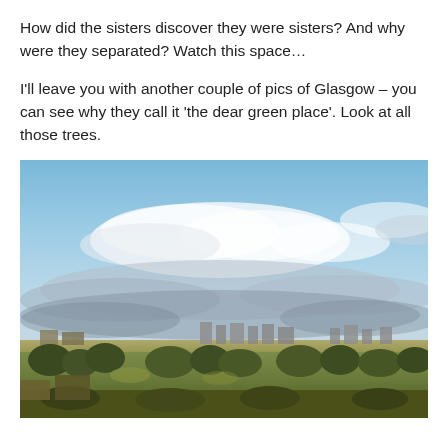How did the sisters discover they were sisters? And why were they separated? Watch this space…
I'll leave you with another couple of pics of Glasgow – you can see why they call it 'the dear green place'. Look at all those trees.
[Figure (photo): Aerial panoramic photograph of Glasgow cityscape showing a wide sky with clouds above and a green tree-filled city below with buildings on the horizon.]